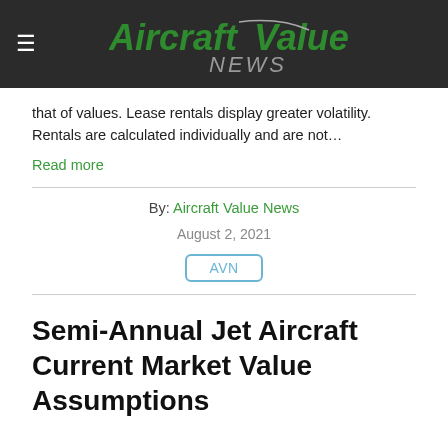Aircraft Value NEWS
that of values. Lease rentals display greater volatility. Rentals are calculated individually and are not…
Read more
By: Aircraft Value News
August 2, 2021
AVN
Semi-Annual Jet Aircraft Current Market Value Assumptions